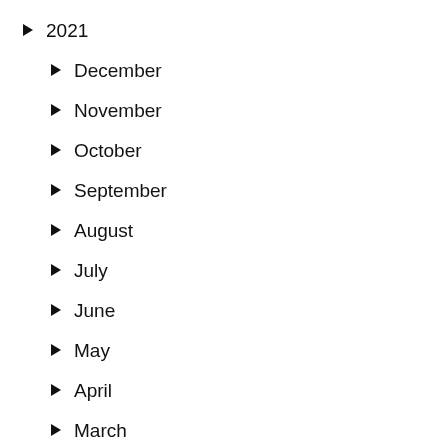2021
December
November
October
September
August
July
June
May
April
March
February